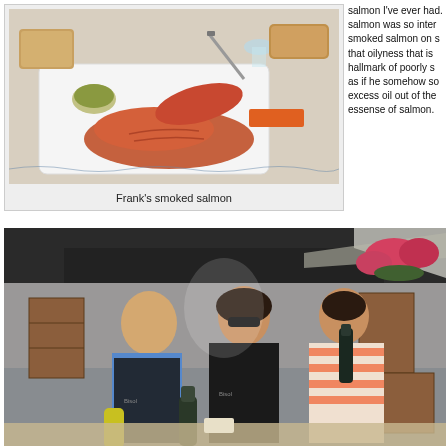[Figure (photo): Food photo showing Frank's smoked salmon on a white tray with capers, bread, and utensils on a table]
Frank's smoked salmon
salmon I've ever had. salmon was so inter smoked salmon on s that oilyness that is hallmark of poorly s as if he somehow so excess oil out of the essense of salmon.
[Figure (photo): Three people posing together at what appears to be an outdoor market or event stall, two wearing Bisol branded aprons, holding bottles of wine/champagne]